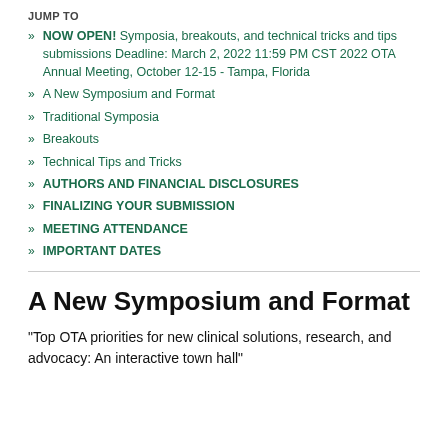JUMP TO
NOW OPEN!  Symposia, breakouts, and technical tricks and tips submissions Deadline: March 2, 2022 11:59 PM CST 2022 OTA Annual Meeting, October 12-15 - Tampa, Florida
A New Symposium and Format
Traditional Symposia
Breakouts
Technical Tips and Tricks
AUTHORS AND FINANCIAL DISCLOSURES
FINALIZING YOUR SUBMISSION
MEETING ATTENDANCE
IMPORTANT DATES
A New Symposium and Format
"Top OTA priorities for new clinical solutions, research, and advocacy: An interactive town hall"